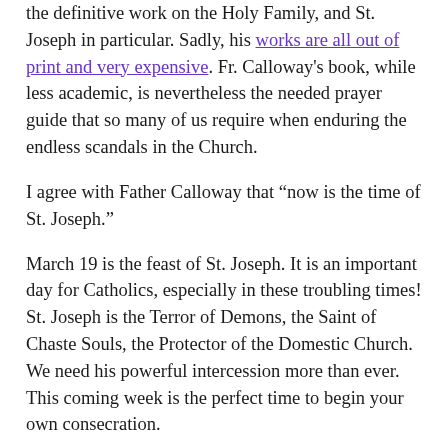the definitive work on the Holy Family, and St. Joseph in particular. Sadly, his works are all out of print and very expensive. Fr. Calloway's book, while less academic, is nevertheless the needed prayer guide that so many of us require when enduring the endless scandals in the Church.
I agree with Father Calloway that “now is the time of St. Joseph.”
March 19 is the feast of St. Joseph. It is an important day for Catholics, especially in these troubling times! St. Joseph is the Terror of Demons, the Saint of Chaste Souls, the Protector of the Domestic Church. We need his powerful intercession more than ever. This coming week is the perfect time to begin your own consecration.
St. Joseph does not speak in any of the Gospels — not because he had nothing to say, but because his mere presence said all that was necessary. Like many fathers, he spoke little but did much. Simply being there for Our Lord